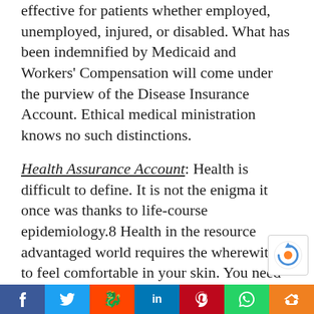effective for patients whether employed, unemployed, injured, or disabled. What has been indemnified by Medicaid and Workers' Compensation will come under the purview of the Disease Insurance Account. Ethical medical ministration knows no such distinctions.
Health Assurance Account: Health is difficult to define. It is not the enigma it once was thanks to life-course epidemiology.8 Health in the resource advantaged world requires the wherewithal to feel comfortable in your skin. You need to find a station in your community that satisfies to an important degree. You need to be able to maintain that station by virtue of the earnings from work that satisfies you to an important degree. You need to have the personal resources to cope with the predicaments
Facebook | Twitter | Reddit | LinkedIn | Pinterest | WhatsApp | Share